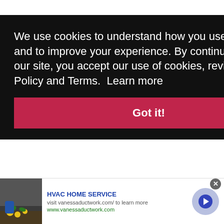We use cookies to understand how you use our site and to improve your experience. By continuing to use our site, you accept our use of cookies, revised Privacy Policy and Terms. Learn more
Got it!
[Figure (logo): City Pigeon - couriered to your inbox advertisement banner on red background with pigeon logo]
HVAC HOME SERVICE
visit vanessaductwork.com/ to learn more
www.vanessaductwork.com